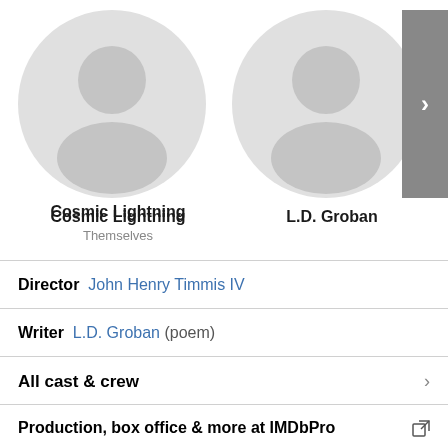[Figure (illustration): Two placeholder person avatars (grey circles with generic silhouette icons). First labeled 'Cosmic Lightning / Themselves', second labeled 'L.D. Groban'. A grey navigation arrow button on the right edge.]
Cosmic Lightning
Themselves
L.D. Groban
Director  John Henry Timmis IV
Writer  L.D. Groban  (poem)
All cast & crew
Production, box office & more at IMDbPro